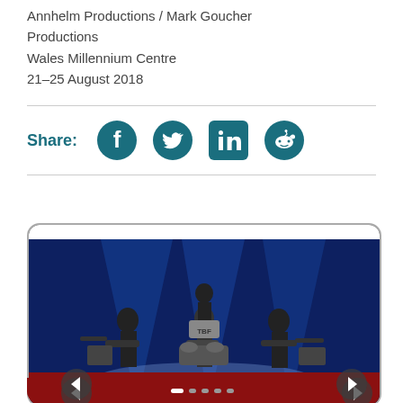Annhelm Productions / Mark Goucher Productions
Wales Millennium Centre
21–25 August 2018
[Figure (infographic): Share row with social media icons: Facebook, Twitter, LinkedIn, Reddit on teal background color]
[Figure (screenshot): Screenshot of a website showing a band performing on a dark blue lit stage, with a cookie consent overlay reading 'This website uses cookies to ensure you get the best experience on our website. Learn more' and a 'Got it!' button. Carousel arrows visible at bottom.]